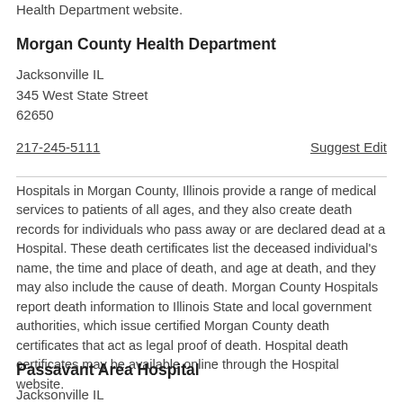Health Department website.
Morgan County Health Department
Jacksonville IL
345 West State Street
62650
217-245-5111
Suggest Edit
Hospitals in Morgan County, Illinois provide a range of medical services to patients of all ages, and they also create death records for individuals who pass away or are declared dead at a Hospital. These death certificates list the deceased individual's name, the time and place of death, and age at death, and they may also include the cause of death. Morgan County Hospitals report death information to Illinois State and local government authorities, which issue certified Morgan County death certificates that act as legal proof of death. Hospital death certificates may be available online through the Hospital website.
Passavant Area Hospital
Jacksonville IL